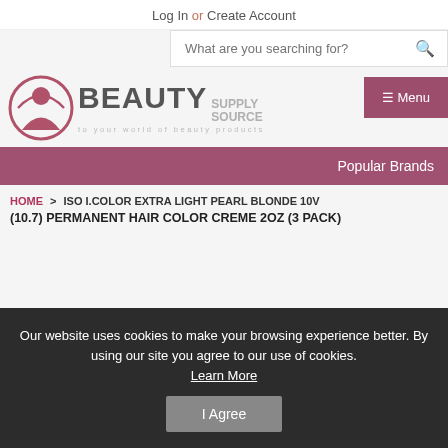Log In or Create Account
[Figure (logo): Beauty Supply Source logo with circular woman silhouette icon and text]
≡ Menu
Popular Brands
HOME > ISO I.COLOR EXTRA LIGHT PEARL BLONDE 10V (10.7) PERMANENT HAIR COLOR CREME 2OZ (3 PACK)
Our website uses cookies to make your browsing experience better. By using our site you agree to our use of cookies. Learn More
I Agree